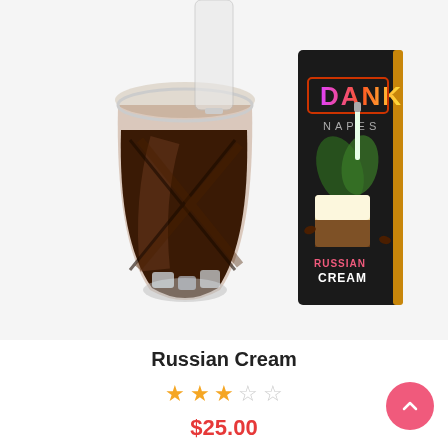[Figure (photo): Product photo showing a glass of dark liquid (cocktail/Russian Cream) alongside a Dank Vapes 'Russian Cream' vape cartridge box on a white background.]
Russian Cream
★★★☆☆ (2.5 out of 5 stars rating)
$25.00